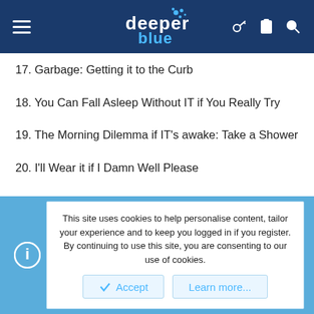deeper blue
17. Garbage: Getting it to the Curb
18. You Can Fall Asleep Without IT if You Really Try
19. The Morning Dilemma if IT's awake: Take a Shower
20. I'll Wear it if I Damn Well Please
21. How to Put the Toilet Lid Down: formerly titled "No, It's Not a Bidet"
22. "The Weekend" and "Sports" are Not Synonyms
23. Give Me a Break: Why We Know Your Excuses are Bull
This site uses cookies to help personalise content, tailor your experience and to keep you logged in if you register. By continuing to use this site, you are consenting to our use of cookies.